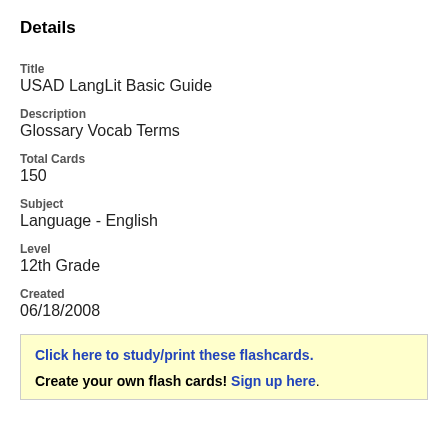Details
Title
USAD LangLit Basic Guide
Description
Glossary Vocab Terms
Total Cards
150
Subject
Language - English
Level
12th Grade
Created
06/18/2008
Click here to study/print these flashcards.

Create your own flash cards! Sign up here.